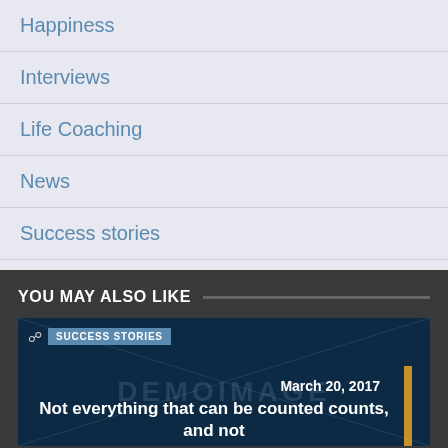Happiness
Interviews
Life Coaching
News
Success stories
YOU MAY ALSO LIKE
[Figure (screenshot): Card with dark navy background, diagonal lines watermark, SUCCESS STORIES tag, date March 20 2017, gold vertical bar, and article title 'Not everything that can be counted counts, and not']
Not everything that can be counted counts, and not